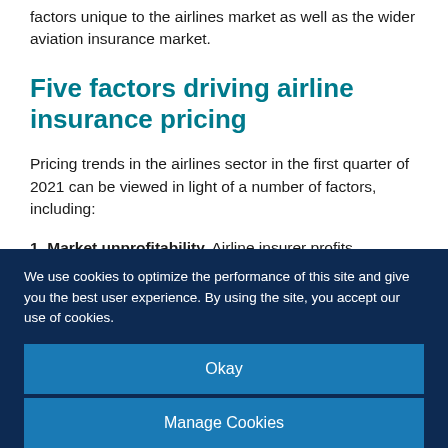factors unique to the airlines market as well as the wider aviation insurance market.
Five factors driving airline insurance pricing
Pricing trends in the airlines sector in the first quarter of 2021 can be viewed in light of a number of factors, including:
1. Market unprofitability. Airline insurer profits
We use cookies to optimize the performance of this site and give you the best user experience. By using the site, you accept our use of cookies.